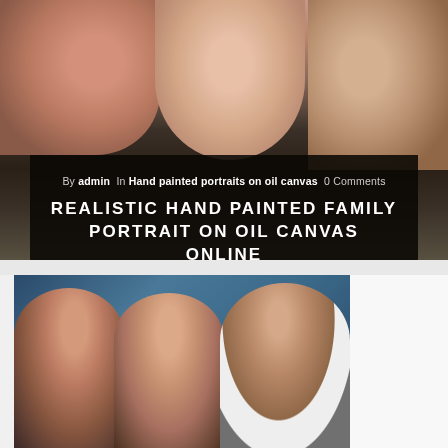[Figure (photo): Top cropped portion of a hand-painted oil canvas family portrait showing three figures — a woman on the left with red lips, a girl in the center, and a man on the right in a white shirt — against a dark background.]
By admin  In  Hand painted portraits on oil canvas  0 Comments
REALISTIC HAND PAINTED FAMILY PORTRAIT ON OIL CANVAS ONLINE INDIA
April 30, 2017
[Figure (photo): A hand-painted oil canvas family portrait showing three people on a blue-grey background: a woman with short dark hair on the left, a young girl in the center, and an older man with grey hair smiling on the right in a white shirt.]